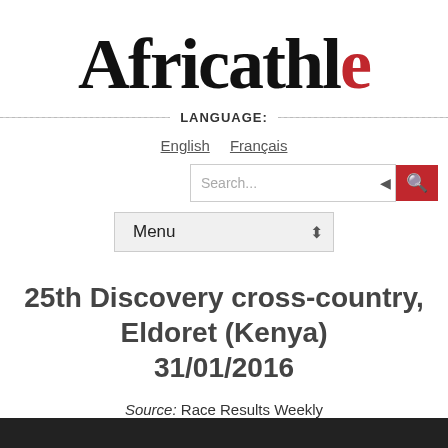Africathle
LANGUAGE:
English   Français
[Figure (screenshot): Search bar with red search button and magnifying glass icon]
[Figure (screenshot): Menu dropdown selector with arrow]
25th Discovery cross-country, Eldoret (Kenya) 31/01/2016
Source: Race Results Weekly
[Figure (photo): Dark bottom image strip]